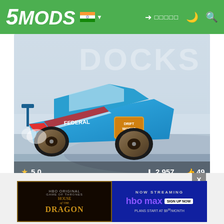5MODS navigation bar with logo, India flag, login and search icons
[Figure (screenshot): Docks Drift Layout mod hero image showing a blue drift car with FEDERAL and Drift Works livery on a track, with large DOCKS DRIF text overlay. Stats: 5.0 rating, 2,957 downloads, 49 likes.]
Docks Drift Layout (SNT 1.7 Objects.ini)
By BlueJeansGamer
[Figure (screenshot): House of the Dragon HBO Max advertisement banner. Left side: dark background with gold ornate title text 'HOUSE OF THE DRAGON' with HBO Original and Game of Thrones labels. Right side: blue background with NOW STREAMING, HBO Max logo, SIGN UP NOW button, PLANS START AT $9.99/MONTH.]